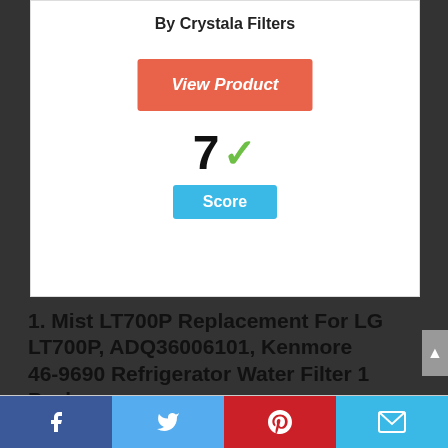By Crystala Filters
[Figure (other): Orange 'View Product' button]
[Figure (infographic): Score 7 with green checkmark and blue Score badge]
1. Mist LT700P Replacement For LG LT700P, ADQ36006101, Kenmore 46-9690 Refrigerator Water Filter 1 Pack
[Figure (infographic): Footer social sharing bar with Facebook, Twitter, Pinterest, and Email icons]